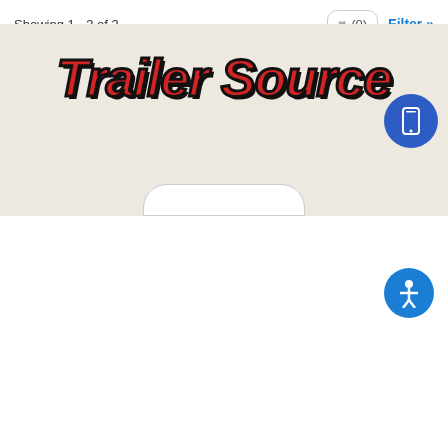Showing 1 - 3 of 3
♥ (0)
Filter »
PRICE RANGE
Stock # or Model
Search
[Figure (illustration): Blue circle accessibility icon with white person figure with arms outstretched]
[Figure (logo): Trailer Source logo in large red italic bold text with dark outline on beige background]
[Figure (illustration): Blue circle with white mobile/tablet device icon]